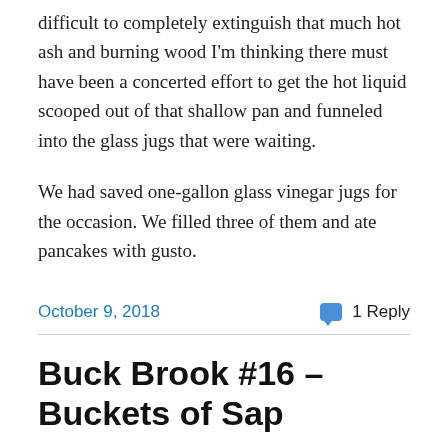difficult to completely extinguish that much hot ash and burning wood I'm thinking there must have been a concerted effort to get the hot liquid scooped out of that shallow pan and funneled into the glass jugs that were waiting.
We had saved one-gallon glass vinegar jugs for the occasion. We filled three of them and ate pancakes with gusto.
October 9, 2018
1 Reply
Buck Brook #16 – Buckets of Sap
It was darn cold and wet when the maple trees started